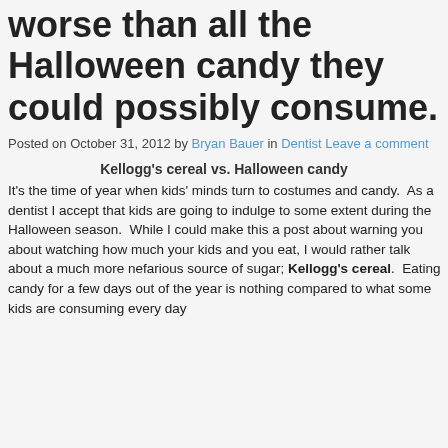worse than all the Halloween candy they could possibly consume.
Posted on October 31, 2012 by Bryan Bauer in Dentist Leave a comment
Kellogg's cereal vs. Halloween candy
It's the time of year when kids' minds turn to costumes and candy.  As a dentist I accept that kids are going to indulge to some extent during the Halloween season.  While I could make this a post about warning you about watching how much your kids and you eat, I would rather talk about a much more nefarious source of sugar; Kellogg's cereal.  Eating candy for a few days out of the year is nothing compared to what some kids are consuming every day